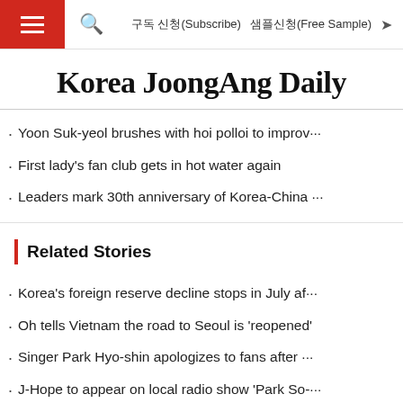구독 신청(Subscribe)   샘플신청(Free Sample)
Korea JoongAng Daily
Yoon Suk-yeol brushes with hoi polloi to improv···
First lady's fan club gets in hot water again
Leaders mark 30th anniversary of Korea-China ···
Related Stories
Korea's foreign reserve decline stops in July af···
Oh tells Vietnam the road to Seoul is 'reopened'
Singer Park Hyo-shin apologizes to fans after ···
J-Hope to appear on local radio show 'Park So-···
Australia for talks on arms industry cooperation